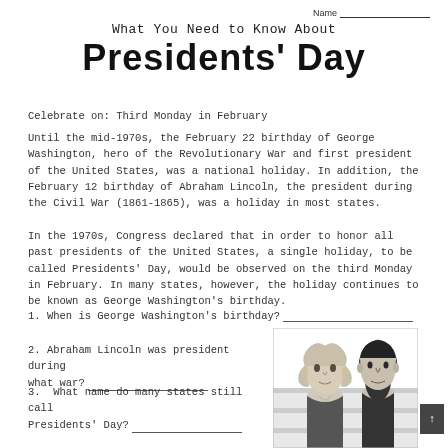Name___________________
What You Need to Know About
Presidents' Day
Celebrate on: Third Monday in February
Until the mid-1970s, the February 22 birthday of George Washington, hero of the Revolutionary War and first president of the United States, was a national holiday. In addition, the February 12 birthday of Abraham Lincoln, the president during the Civil War (1861-1865), was a holiday in most states.
In the 1970s, Congress declared that in order to honor all past presidents of the United States, a single holiday, to be called Presidents' Day, would be observed on the third Monday in February. In many states, however, the holiday continues to be known as George Washington's birthday.
1. When is George Washington's birthday? ___________________________
2. Abraham Lincoln was president during what war? ______________________
3. What name do many states still call Presidents' Day? ___________________
[Figure (illustration): Black and white illustration of George Washington and Abraham Lincoln portrait busts side by side with an American flag in the background.]